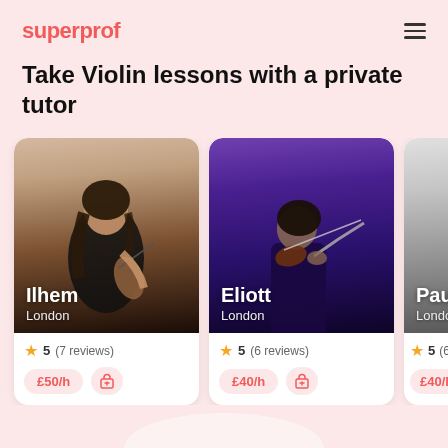superprof
Take Violin lessons with a private tutor
[Figure (photo): Tutor card for Ilhem, London - woman holding violin, smiling, warm background]
[Figure (photo): Tutor card for Eliott, London - man playing violin under purple stage lighting]
[Figure (photo): Tutor card for Paul, London - man in suit holding violin, black and white photo (partially visible)]